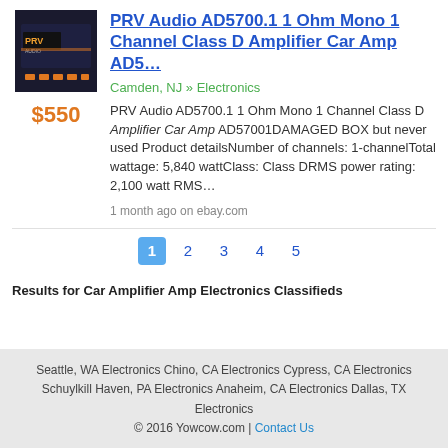[Figure (photo): PRV Audio amplifier product image — black rectangular device with orange branding and orange connector ports on front edge]
$550
PRV Audio AD5700.1 1 Ohm Mono 1 Channel Class D Amplifier Car Amp AD5…
Camden, NJ » Electronics
PRV Audio AD5700.1 1 Ohm Mono 1 Channel Class D Amplifier Car Amp AD57001DAMAGED BOX but never used Product detailsNumber of channels: 1-channelTotal wattage: 5,840 wattClass: Class DRMS power rating: 2,100 watt RMS…
1 month ago on ebay.com
1 2 3 4 5
Results for Car Amplifier Amp Electronics Classifieds
Seattle, WA Electronics Chino, CA Electronics Cypress, CA Electronics Schuylkill Haven, PA Electronics Anaheim, CA Electronics Dallas, TX Electronics © 2016 Yowcow.com | Contact Us